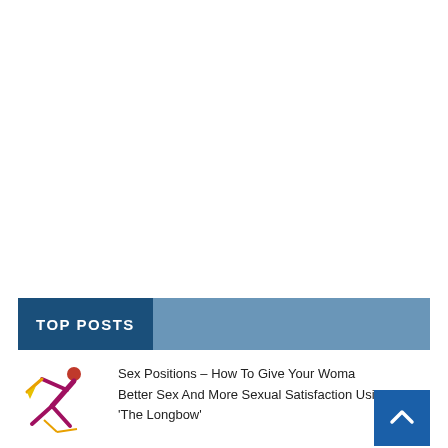TOP POSTS
[Figure (illustration): Small illustrated figure of a person in an acrobatic or athletic pose, with yellow and red coloring]
Sex Positions – How To Give Your Woman Better Sex And More Sexual Satisfaction Using 'The Longbow'